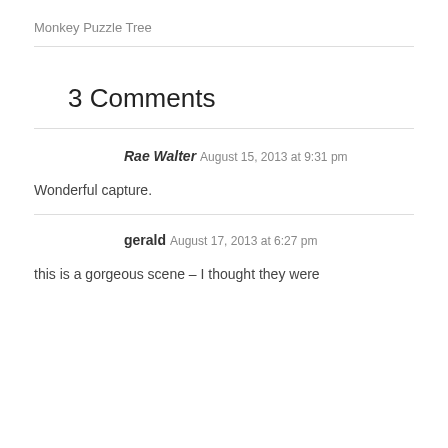Monkey Puzzle Tree
3 Comments
Rae Walter
August 15, 2013 at 9:31 pm
Wonderful capture.
gerald
August 17, 2013 at 6:27 pm
this is a gorgeous scene – I thought they were